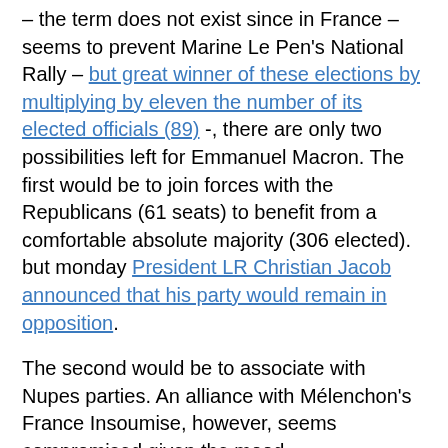– the term does not exist since in France – seems to prevent Marine Le Pen's National Rally – but great winner of these elections by multiplying by eleven the number of its elected officials (89) -, there are only two possibilities left for Emmanuel Macron. The first would be to join forces with the Republicans (61 seats) to benefit from a comfortable absolute majority (306 elected). but monday President LR Christian Jacob announced that his party would remain in opposition.
The second would be to associate with Nupes parties. An alliance with Mélenchon's France Insoumise, however, seems compromised given the mood incompatibilities between the main...